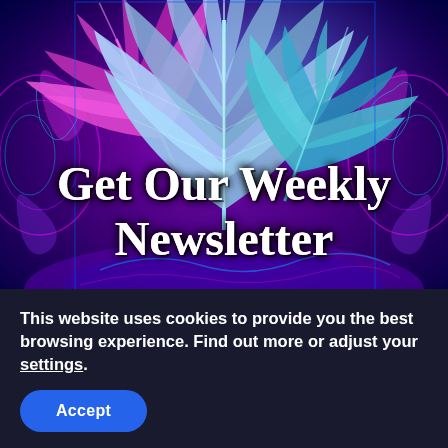[Figure (illustration): Psychedelic image of cannabis leaves (pink/purple and cyan/blue) against a colorful mandala-style background with neon swirls. White bold serif text overlay reads 'Get Our Weekly Newsletter'.]
All The Latest From Psychedelics & Cannabis:
This website uses cookies to provide you the best browsing experience. Find out more or adjust your settings.
Accept